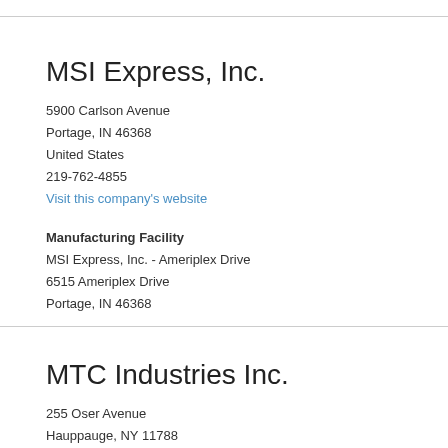MSI Express, Inc.
5900 Carlson Avenue
Portage, IN 46368
United States
219-762-4855
Visit this company's website
Manufacturing Facility
MSI Express, Inc. - Ameriplex Drive
6515 Ameriplex Drive
Portage, IN 46368
MTC Industries Inc.
255 Oser Avenue
Hauppauge, NY 11788
United States